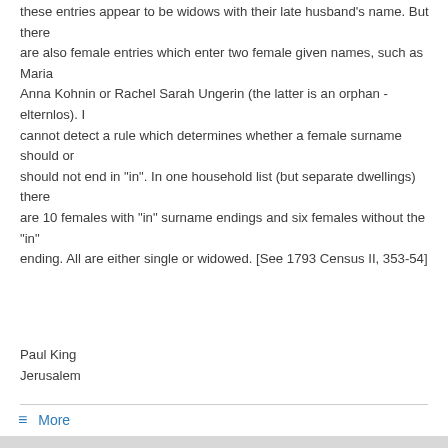these entries appear to be widows with their late husband's name. But there are also female entries which enter two female given names, such as Maria Anna Kohnin or Rachel Sarah Ungerin (the latter is an orphan - elternlos). I cannot detect a rule which determines whether a female surname should or should not end in "in". In one household list (but separate dwellings) there are 10 females with "in" surname endings and six females without the "in" ending. All are either single or widowed. [See 1793 Census II, 353-54]
Paul King
Jerusalem
≡ More